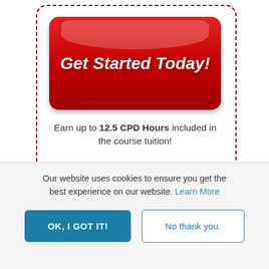[Figure (other): Red call-to-action button with text 'Get Started Today!' inside a dashed red border box]
Earn up to 12.5 CPD Hours included in the course tuition!
Schema therapy is particularly well suited for difficult, resistant clients with entrenched, chronic psychological challenges, including personality disorders (such as BPD and Narcissism), eating disorders, intractable relationship problems, and
Our website uses cookies to ensure you get the best experience on our website. Learn More
OK, I GOT IT!
No thank you.